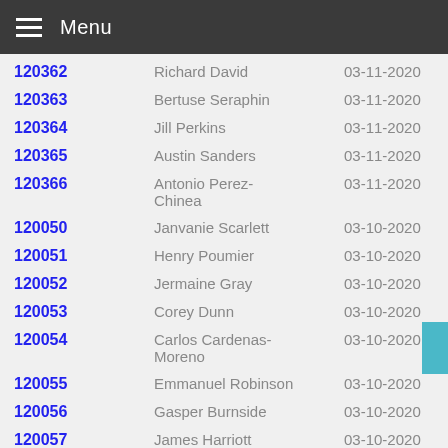Menu
| ID | Name | Date |
| --- | --- | --- |
| 120362 | Richard David | 03-11-2020 |
| 120363 | Bertuse Seraphin | 03-11-2020 |
| 120364 | Jill Perkins | 03-11-2020 |
| 120365 | Austin Sanders | 03-11-2020 |
| 120366 | Antonio Perez-Chinea | 03-11-2020 |
| 120050 | Janvanie Scarlett | 03-10-2020 |
| 120051 | Henry Poumier | 03-10-2020 |
| 120052 | Jermaine Gray | 03-10-2020 |
| 120053 | Corey Dunn | 03-10-2020 |
| 120054 | Carlos Cardenas-Moreno | 03-10-2020 |
| 120055 | Emmanuel Robinson | 03-10-2020 |
| 120056 | Gasper Burnside | 03-10-2020 |
| 120057 | James Harriott | 03-10-2020 |
| 120058 | Alexander Shearer | 03-10-2020 |
| 120059 | James Calvert | 03-10-2020 |